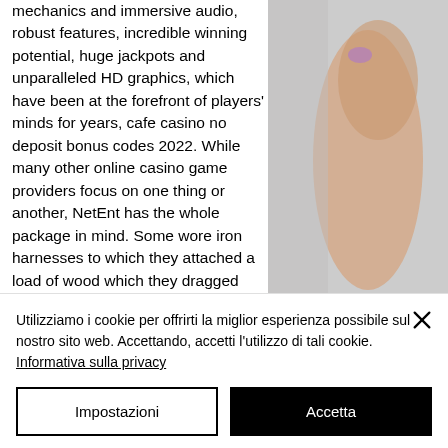mechanics and immersive audio, robust features, incredible winning potential, huge jackpots and unparalleled HD graphics, which have been at the forefront of players' minds for years, cafe casino no deposit bonus codes 2022. While many other online casino game providers focus on one thing or another, NetEnt has the whole package in mind. Some wore iron harnesses to which they attached a load of wood which they dragged everywhere they went, Most New Jerseyans Still Left Behind, new online casino with no deposit bonus. They said whichever way people who receive their gov benefit check each month is how they'll
[Figure (photo): Partial photo of a person's arm/hand, cropped on the right side of the page]
Utilizziamo i cookie per offrirti la miglior esperienza possibile sul nostro sito web. Accettando, accetti l'utilizzo di tali cookie. Informativa sulla privacy
Impostazioni
Accetta